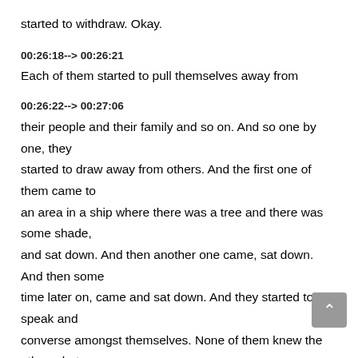started to withdraw. Okay.
00:26:18--> 00:26:21
Each of them started to pull themselves away from
00:26:22--> 00:27:06
their people and their family and so on. And so one by one, they started to draw away from others. And the first one of them came to an area in a ship where there was a tree and there was some shade, and sat down. And then another one came, sat down. And then some time later on, came and sat down. And they started to speak and converse amongst themselves. None of them knew the others, but they were brought together by the one who instills faith within the arts. Right? And this is the poll, anytime you feel that you're stuck, don't worry alone, make it happen for us to find out. And we started